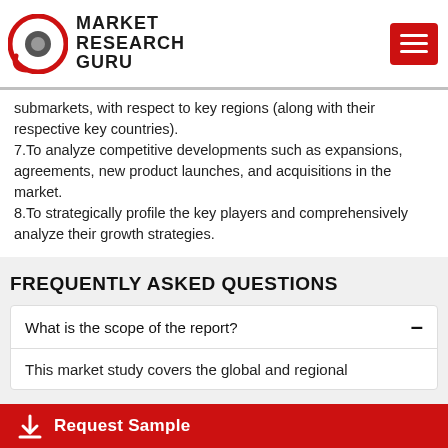MARKET RESEARCH GURU
submarkets, with respect to key regions (along with their respective key countries).
7.To analyze competitive developments such as expansions, agreements, new product launches, and acquisitions in the market.
8.To strategically profile the key players and comprehensively analyze their growth strategies.
FREQUENTLY ASKED QUESTIONS
What is the scope of the report?
This market study covers the global and regional